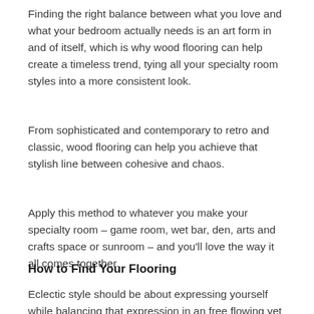Finding the right balance between what you love and what your bedroom actually needs is an art form in and of itself, which is why wood flooring can help create a timeless trend, tying all your specialty room styles into a more consistent look.
From sophisticated and contemporary to retro and classic, wood flooring can help you achieve that stylish line between cohesive and chaos.
Apply this method to whatever you make your specialty room – game room, wet bar, den, arts and crafts space or sunroom – and you'll love the way it all comes together.
How to Find Your Flooring
Eclectic style should be about expressing yourself while balancing that expression in an free flowing yet carefully crafted fashion.